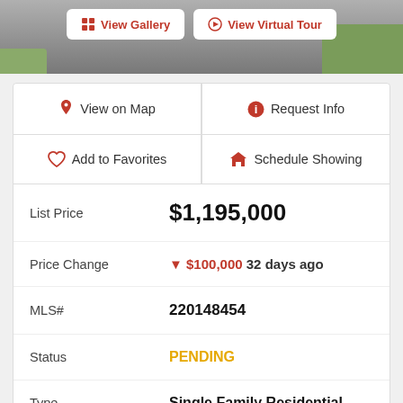[Figure (photo): Top photo banner showing property exterior with grass, overlaid with View Gallery and View Virtual Tour buttons]
| 📍 View on Map | ℹ Request Info |
| 🤍 Add to Favorites | 🏠 Schedule Showing |
| List Price | $1,195,000 |
| Price Change | ▼ $100,000 32 days ago |
| MLS# | 220148454 |
| Status | PENDING |
| Type | Single Family Residential |
| Subtype | Single Family Residence |
| Year Built | 1991 |